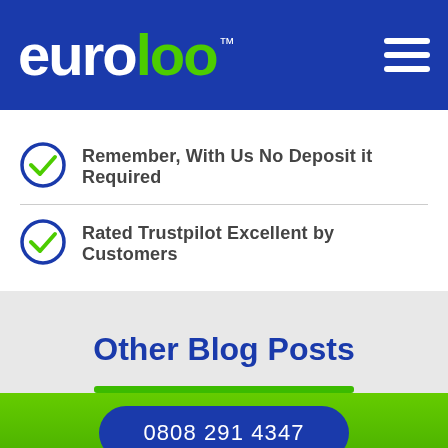[Figure (logo): Euroloo logo in white and green on dark blue background with hamburger menu icon]
Remember, With Us No Deposit it Required
Rated Trustpilot Excellent by Customers
Other Blog Posts
0808 291 4347